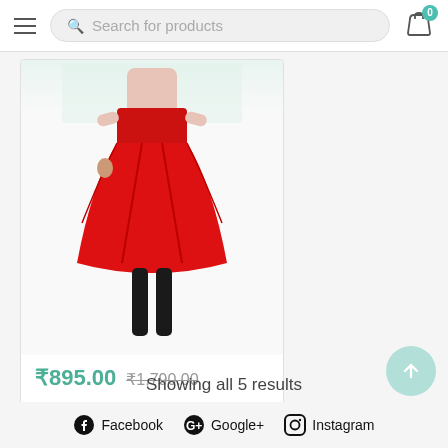Search for products
[Figure (photo): Product photo of a woman wearing a red floral off-shoulder midi dress]
₹895.00  ₹1,790.00
Women's Midi Dress Floral off shoulder Stretchable
Showing all 5 results
Facebook  Google+  Instagram